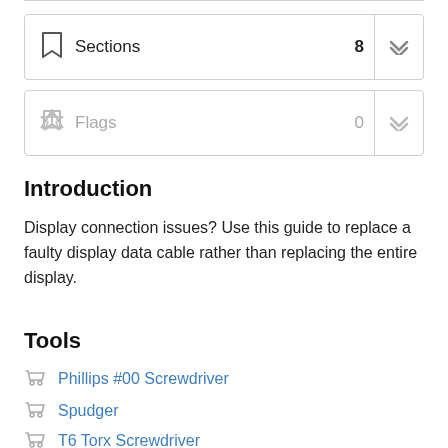Sections 8
Flags 0
Introduction
Display connection issues? Use this guide to replace a faulty display data cable rather than replacing the entire display.
Tools
Phillips #00 Screwdriver
Spudger
T6 Torx Screwdriver